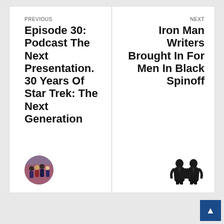PREVIOUS
Episode 30: Podcast The Next Presentation. 30 Years Of Star Trek: The Next Generation
[Figure (photo): Circular thumbnail image for Star Trek: The Next Generation podcast episode]
NEXT
Iron Man Writers Brought In For Men In Black Spinoff
[Figure (photo): Small image showing two figures in black costumes for Men In Black Spinoff article]